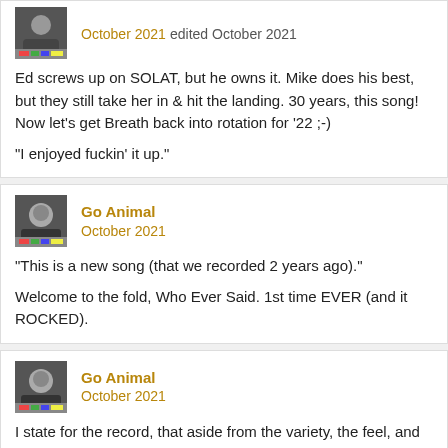[Figure (photo): Avatar thumbnail of a user]
October 2021 edited October 2021
Ed screws up on SOLAT, but he owns it. Mike does his best, but they still take her in & hit the landing. 30 years, this song! Now let's get Breath back into rotation for '22 ;-)
"I enjoyed fuckin' it up."
[Figure (photo): Avatar thumbnail of Go Animal user]
Go Animal
October 2021
"This is a new song (that we recorded 2 years ago)."
Welcome to the fold, Who Ever Said. 1st time EVER (and it ROCKED).
[Figure (photo): Avatar thumbnail of Go Animal user]
Go Animal
October 2021
I state for the record, that aside from the variety, the feel, and the overall celebratory vibe, the inclusion on Sweet Lew